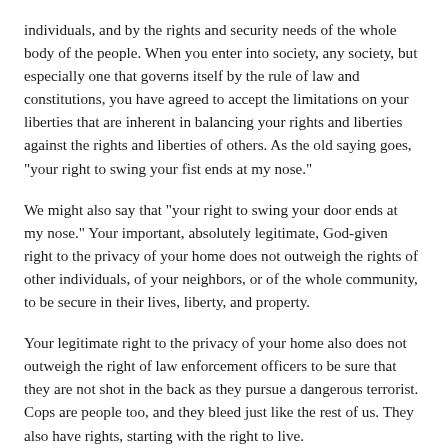individuals, and by the rights and security needs of the whole body of the people. When you enter into society, any society, but especially one that governs itself by the rule of law and constitutions, you have agreed to accept the limitations on your liberties that are inherent in balancing your rights and liberties against the rights and liberties of others. As the old saying goes, "your right to swing your fist ends at my nose."
We might also say that "your right to swing your door ends at my nose." Your important, absolutely legitimate, God-given right to the privacy of your home does not outweigh the rights of other individuals, of your neighbors, or of the whole community, to be secure in their lives, liberty, and property.
Your legitimate right to the privacy of your home also does not outweigh the right of law enforcement officers to be sure that they are not shot in the back as they pursue a dangerous terrorist. Cops are people too, and they bleed just like the rest of us. They also have rights, starting with the right to live.
The primary purpose of government is to protect the lives of the...